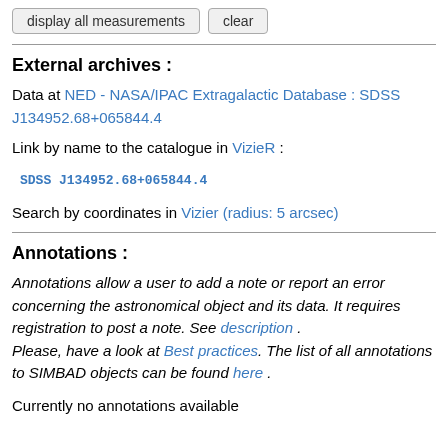display all measurements   clear
External archives :
Data at NED - NASA/IPAC Extragalactic Database : SDSS J134952.68+065844.4
Link by name to the catalogue in VizieR :
SDSS J134952.68+065844.4
Search by coordinates in Vizier (radius: 5 arcsec)
Annotations :
Annotations allow a user to add a note or report an error concerning the astronomical object and its data. It requires registration to post a note. See description . Please, have a look at Best practices. The list of all annotations to SIMBAD objects can be found here .
Currently no annotations available